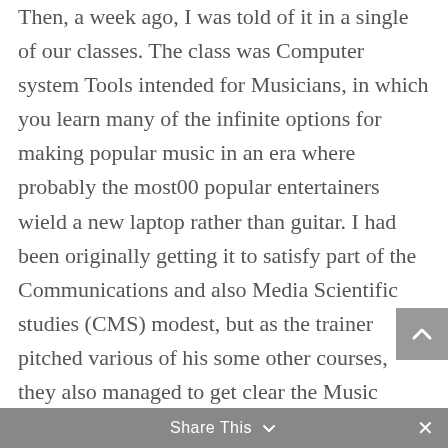Then, a week ago, I was told of it in a single of our classes. The class was Computer system Tools intended for Musicians, in which you learn many of the infinite options for making popular music in an era where probably the most00 popular entertainers wield a new laptop rather than guitar. I had been originally getting it to satisfy part of the Communications and also Media Scientific studies (CMS) modest, but as the trainer pitched various of his some other courses, they also managed to get clear the Music Executive minor just, in fact , specifically for designers.